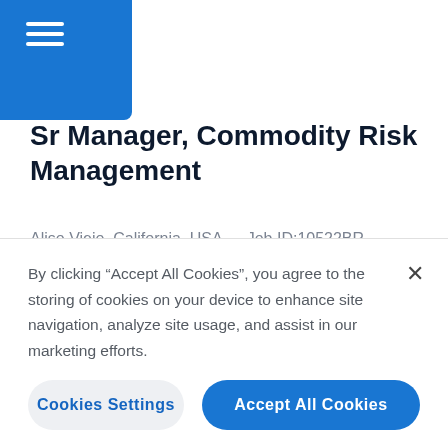Sr Manager, Commodity Risk Management
Aliso Viejo, California, USA — Job ID:10522BR
View Position →
By clicking “Accept All Cookies”, you agree to the storing of cookies on your device to enhance site navigation, analyze site usage, and assist in our marketing efforts.
Cookies Settings
Accept All Cookies